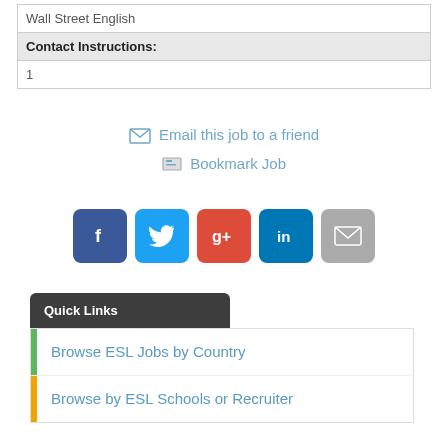| Wall Street English |
| Contact Instructions: |  |
| 1 |  |
Email this job to a friend
Bookmark Job
[Figure (infographic): Social sharing buttons: Facebook, Twitter, Google+, LinkedIn, Email]
Quick Links
Browse ESL Jobs by Country
Browse by ESL Schools or Recruiter